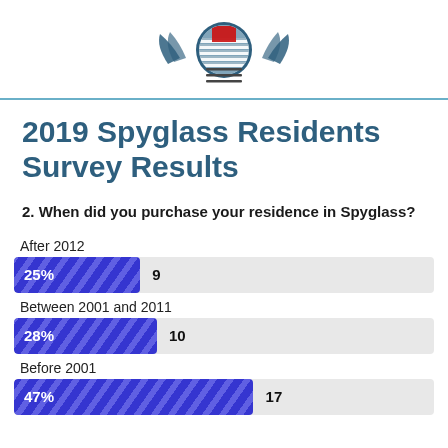[Figure (logo): Spyglass community logo/seal with eagle wings, circular emblem with flag motif and horizontal lines below]
2019 Spyglass Residents Survey Results
2. When did you purchase your residence in Spyglass?
[Figure (bar-chart): When did you purchase your residence in Spyglass?]